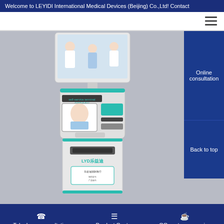Welcome to LEYIDI International Medical Devices (Beijing) Co.,Ltd! Contact
[Figure (screenshot): Navigation bar with hamburger menu icon on the right side]
[Figure (photo): LYD medical self-service terminal kiosk with a screen on top showing medical staff, and a touchscreen interface with teal/green accents, branded with LYD 乐益迪 logo]
Online consultation
Back to top
Telephone consultation   Product Center   QQ customer service